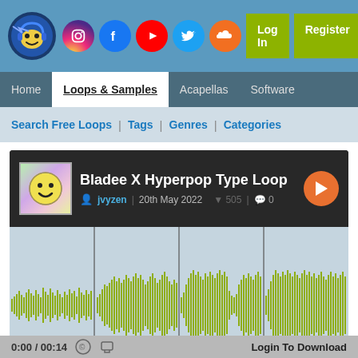Logo | Instagram | Facebook | YouTube | Twitter | SoundCloud | Log In | Register
Home
Loops & Samples
Acapellas
Software
Search Free Loops | Tags | Genres | Categories
Bladee X Hyperpop Type Loop
jvyzen | 20th May 2022 | 505 downloads | 0 comments
[Figure (other): Audio waveform visualization showing a music loop with olive/yellow-green colored waveform on a light blue-gray background, with 4 vertical marker lines]
0:00 / 00:14 | Login To Download